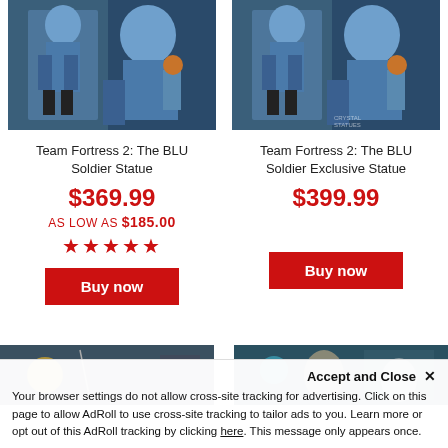[Figure (photo): Team Fortress 2 BLU Soldier Statue product image showing two views of the figure]
Team Fortress 2: The BLU Soldier Statue
$369.99
AS LOW AS $185.00
★★★★★
Buy now
[Figure (photo): Team Fortress 2 BLU Soldier Exclusive Statue product image showing two views of the figure]
Team Fortress 2: The BLU Soldier Exclusive Statue
$399.99
Buy now
[Figure (photo): Bottom left product image partially visible]
[Figure (photo): Bottom right product image partially visible]
Accept and Close ✕
Your browser settings do not allow cross-site tracking for advertising. Click on this page to allow AdRoll to use cross-site tracking to tailor ads to you. Learn more or opt out of this AdRoll tracking by clicking here. This message only appears once.